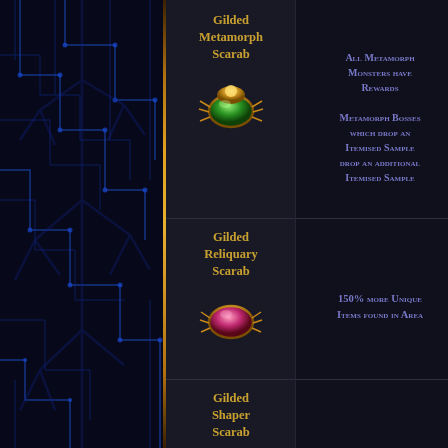[Figure (screenshot): Game UI screenshot showing a list of Path of Exile scarab items with their names, icons, and effects in a two-column table layout over a dark blue circuit-board background.]
| Item Name | Effect |
| --- | --- |
| Gilded Metamorph Scarab | All Metamorph Monsters have Rewards
Metamorph Bosses which drop an Itemised Sample drop an additional Itemised Sample |
| Gilded Reliquary Scarab | 150% more Unique Items found in Area |
| Gilded Shaper Scarab | 90% more Rare Shaper Items found in Area |
| Gilded Sulphite Scarab | Map owner gains |